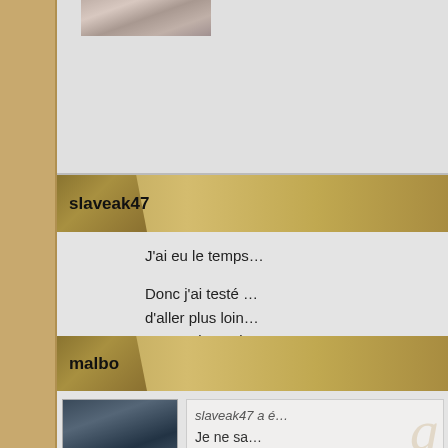[Figure (photo): Partial avatar image at top, cropped]
slaveak47
J'ai eu le temps…

Donc j'ai testé … d'aller plus loin… Ca me donne l…

Je ne sais pas … classique. Lent…
malbo
[Figure (photo): Avatar photo of malbo - man in white shirt]
slaveak47 a é…
Je ne sa…
C'est extrêmem… blocage sur l'é…